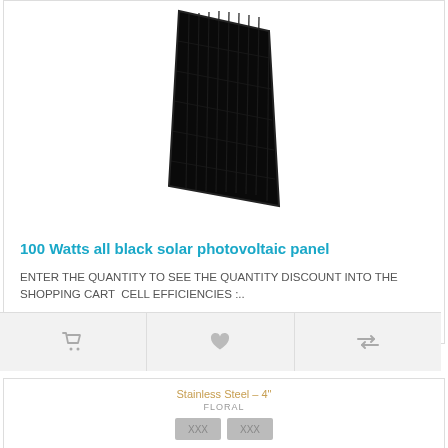[Figure (photo): Black solar photovoltaic panel product image on white background]
100 Watts all black solar photovoltaic panel
ENTER THE QUANTITY TO SEE THE QUANTITY DISCOUNT INTO THE SHOPPING CART  Cell efficiencies :..
259.44$ CAD
[Figure (other): Second product card showing Stainless Steel - 4" FLORAL with size selection buttons]
Stainless Steel – 4"
FLORAL